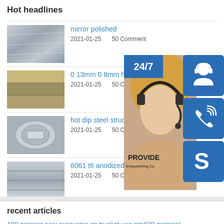Hot headlines
mirror polished | 2021-01-25 | 50 Comment
0 13mm 0 8mm hot dipped | 2021-01-25 | 50 Comment
hot dip steel structure warehouse | 2021-01-25 | 50 Comment
6061 t6 anodized sheet | 2021-01-25 | 50 Comment
[Figure (infographic): Customer service sidebar with 24/7 badge, photo of woman with headset, headset icon, phone icon, Skype icon, and online live button]
recent articles
100 percent new excavator gp bucket use nm400 material
8mm 300mm thickness gl grade b ship building steel plate